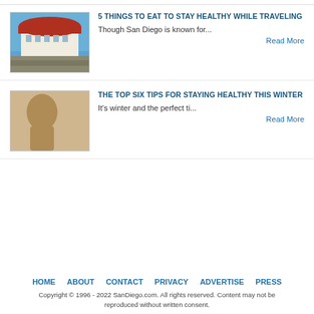[Figure (photo): Partial top article thumbnail, cropped]
5 THINGS TO EAT TO STAY HEALTHY WHILE TRAVELING
Though San Diego is known for...
Read More
THE TOP SIX TIPS FOR STAYING HEALTHY THIS WINTER
It's winter and the perfect ti...
Read More
HOME   ABOUT   CONTACT   PRIVACY   ADVERTISE   PRESS
Copyright © 1996 - 2022 SanDiego.com. All rights reserved. Content may not be reproduced without written consent.